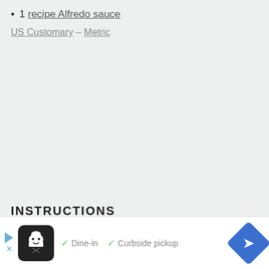1 recipe Alfredo sauce
US Customary – Metric
INSTRUCTIONS
1. Cook the pasta according to package instructions aside.
[Figure (other): Advertisement banner showing a restaurant logo with chef icon, checkmarks for Dine-in and Curbside pickup options, and a blue navigation arrow icon.]